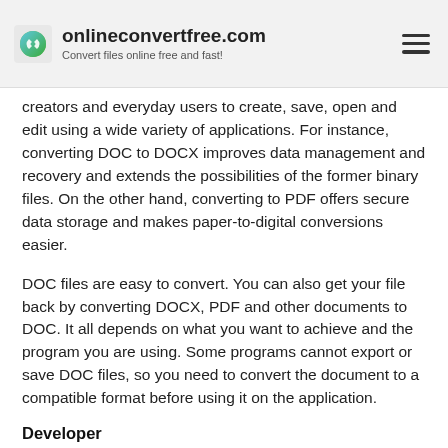onlineconvertfree.com – Convert files online free and fast!
creators and everyday users to create, save, open and edit using a wide variety of applications. For instance, converting DOC to DOCX improves data management and recovery and extends the possibilities of the former binary files. On the other hand, converting to PDF offers secure data storage and makes paper-to-digital conversions easier.
DOC files are easy to convert. You can also get your file back by converting DOCX, PDF and other documents to DOC. It all depends on what you want to achieve and the program you are using. Some programs cannot export or save DOC files, so you need to convert the document to a compatible format before using it on the application.
Developer